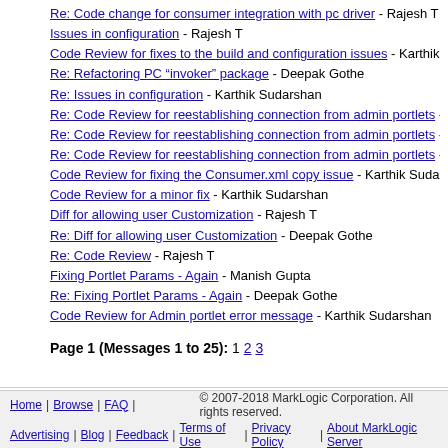Re: Code change for consumer integration with pc driver - Rajesh T
Issues in configuration - Rajesh T
Code Review for fixes to the build and configuration issues - Karthik Su...
Re: Refactoring PC "invoker" package - Deepak Gothe
Re: Issues in configuration - Karthik Sudarshan
Re: Code Review for reestablishing connection from admin portlets - K...
Re: Code Review for reestablishing connection from admin portlets - Ka...
Re: Code Review for reestablishing connection from admin portlets - R...
Code Review for fixing the Consumer.xml copy issue - Karthik Sudarsh...
Code Review for a minor fix - Karthik Sudarshan
Diff for allowing user Customization - Rajesh T
Re: Diff for allowing user Customization - Deepak Gothe
Re: Code Review - Rajesh T
Fixing Portlet Params - Again - Manish Gupta
Re: Fixing Portlet Params - Again - Deepak Gothe
Code Review for Admin portlet error message - Karthik Sudarshan
Page 1 (Messages 1 to 25): 1 2 3
Home | Browse | FAQ | Advertising | Blog | Feedback | Terms of Use | Privacy Policy | About MarkLogic Server © 2007-2018 MarkLogic Corporation. All rights reserved.